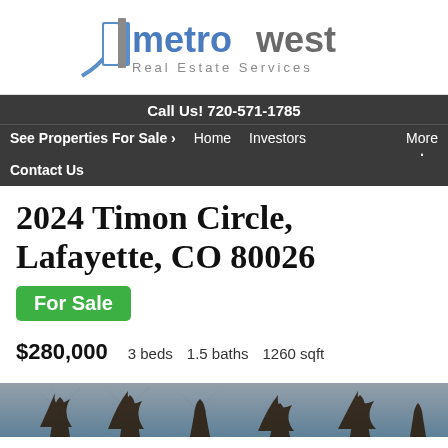[Figure (logo): MetroWest Real Estate Services logo with blue door/building icon and company name]
Call Us! 720-571-1785
See Properties For Sale › Home Investors More
Contact Us
2024 Timon Circle, Lafayette, CO 80026
For Sale
$280,000   3 beds   1.5 baths   1260 sqft
[Figure (photo): Exterior photo of property with bare trees in front]